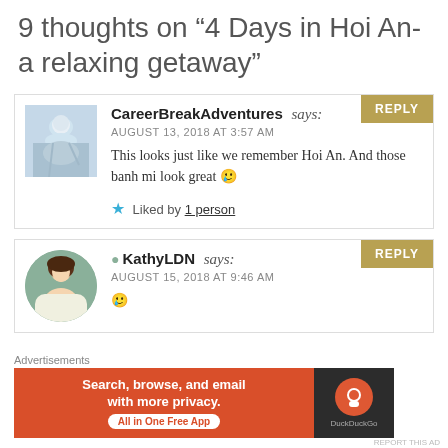9 thoughts on “4 Days in Hoi An- a relaxing getaway”
CareerBreakAdventures says:
AUGUST 13, 2018 AT 3:57 AM
This looks just like we remember Hoi An. And those banh mi look great 🥲
Liked by 1 person
KathyLDN says:
AUGUST 15, 2018 AT 9:46 AM
🥲
Advertisements
Search, browse, and email with more privacy. All in One Free App
DuckDuckGo